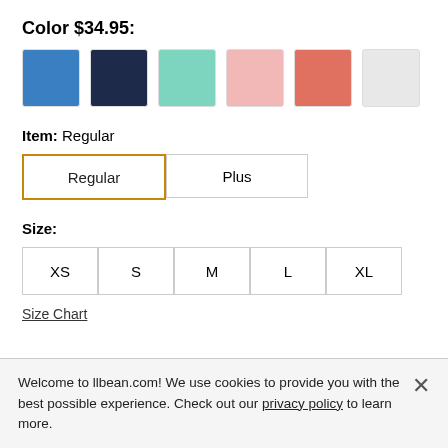Color $34.95:
[Figure (illustration): Six color swatches: blue, navy, mint, pink, coral, white/light gray]
Item: Regular
Regular | Plus (item type buttons, Regular selected with orange border)
Size:
XS | S | M | L | XL (size selection buttons)
Size Chart
Quantity: 1 ∨   □ Add Monogram   Details
FREE SHIPPING with $50 Purchase. Details
Welcome to llbean.com! We use cookies to provide you with the best possible experience. Check out our privacy policy to learn more.